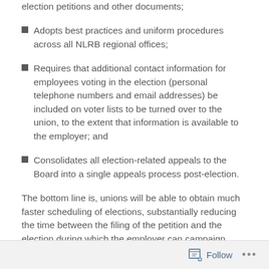election petitions and other documents;
Adopts best practices and uniform procedures across all NLRB regional offices;
Requires that additional contact information for employees voting in the election (personal telephone numbers and email addresses) be included on voter lists to be turned over to the union, to the extent that information is available to the employer; and
Consolidates all election-related appeals to the Board into a single appeals process post-election.
The bottom line is, unions will be able to obtain much faster scheduling of elections, substantially reducing the time between the filing of the petition and the election during which the employer can campaign.
Follow ...